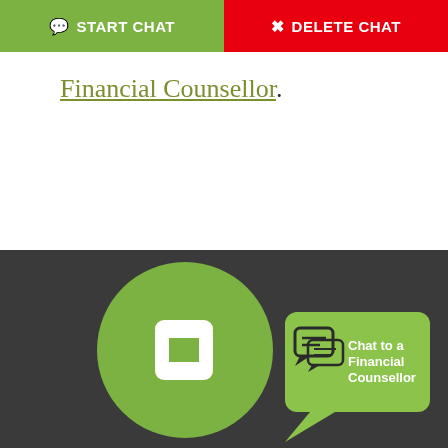START CHAT | DELETE CHAT
Financial Counsellor.
[Figure (illustration): Green circle with white phone handset icon on a dark grey background, with a green speech bubble containing chat icons and text 'Chat to a Financial Counsellor']